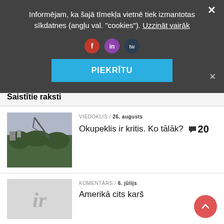Informējam, ka šajā tīmekļa vietnē tiek izmantotas sīkdatnes (angļu val. "cookies"). Uzzināt vairāk
PIEKRĪTU
Saistītie raksti
[Figure (photo): Photograph of a large monument or sculpture structure over a forested cityscape]
VIEDOKLIS / 26. augusts
Okupeklis ir kritis. Ko tālāk? 20
[Figure (logo): Placeholder thumbnail with 'ir' italic logo text on grey background]
KOMENTĀRS / 6. jūlijs
Amerikā cits karš